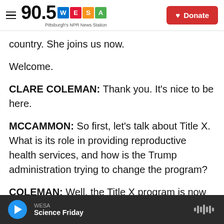90.5 WESA Pittsburgh's NPR News Station | Donate
country. She joins us now.
Welcome.
CLARE COLEMAN: Thank you. It's nice to be here.
MCCAMMON: So first, let's talk about Title X. What is its role in providing reproductive health services, and how is the Trump administration trying to change the program?
COLEMAN: Well, the Title X program is now in its 49th year, and it was established to equalize access to modern forms of contraception and to
WESA | Science Friday